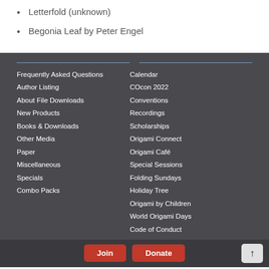Letterfold (unknown)
Begonia Leaf by Peter Engel
Frequently Asked Questions
Author Listing
About File Downloads
New Products
Books & Downloads
Other Media
Paper
Miscellaneous
Specials
Combo Packs
Calendar
COcon 2022
Conventions
Recordings
Scholarships
Origami Connect
Origami Café
Special Sessions
Folding Sundays
Holiday Tree
Origami by Children
World Origami Days
Code of Conduct
Event Photos